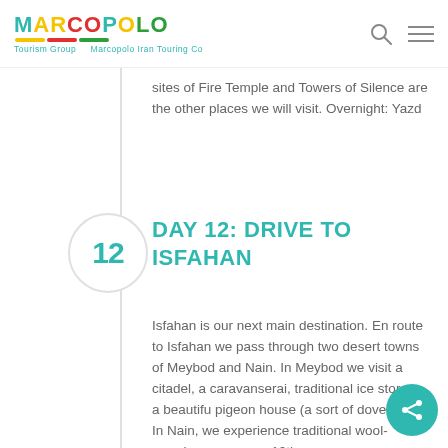MARCOPOLO Tourism Group — Marcopolo Iran Touring Co
sites of Fire Temple and Towers of Silence are the other places we will visit. Overnight: Yazd
DAY 12: DRIVE TO ISFAHAN
Isfahan is our next main destination. En route to Isfahan we pass through two desert towns of Meybod and Nain. In Meybod we visit a citadel, a caravanserai, traditional ice storage, a beautiful pigeon house (a sort of dovecote). In Nain, we experience traditional wool-weaving process, a 10th